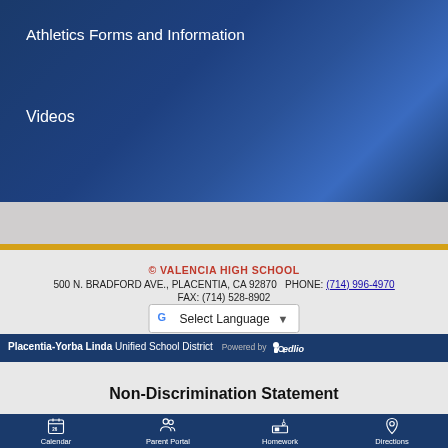Athletics Forms and Information
Videos
© VALENCIA HIGH SCHOOL
500 N. BRADFORD AVE., PLACENTIA, CA 92870   PHONE: (714) 996-4970
FAX: (714) 528-8902
Select Language
Placentia-Yorba Linda Unified School District  Powered by edlio
Non-Discrimination Statement
Calendar  Parent Portal  Homework  Directions